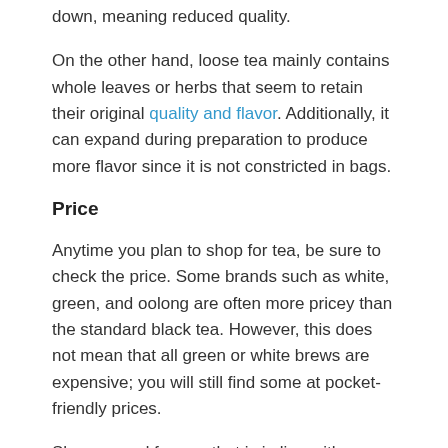down, meaning reduced quality.
On the other hand, loose tea mainly contains whole leaves or herbs that seem to retain their original quality and flavor. Additionally, it can expand during preparation to produce more flavor since it is not constricted in bags.
Price
Anytime you plan to shop for tea, be sure to check the price. Some brands such as white, green, and oolong are often more pricey than the standard black tea. However, this does not mean that all green or white brews are expensive; you will still find some at pocket-friendly prices.
Shop around for one that is in line with your budget and still meets your needs. You can get your